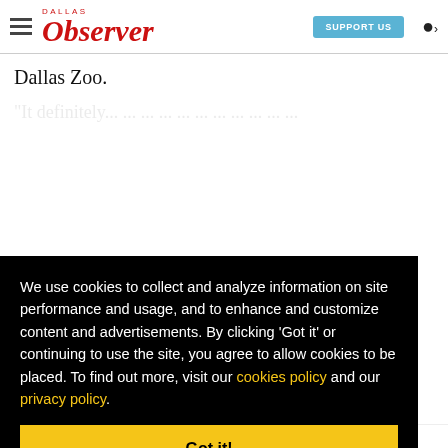Dallas Observer – SUPPORT US
Dallas Zoo.
"It definitely... (partial text behind cookie banner) ...breath "It
[Figure (screenshot): Cookie consent banner overlay on a Dallas Observer article page. Black background with white text reading: 'We use cookies to collect and analyze information on site performance and usage, and to enhance and customize content and advertisements. By clicking 'Got it' or continuing to use the site, you agree to allow cookies to be placed. To find out more, visit our cookies policy and our privacy policy.' with a yellow 'Got it!' button below.]
...the ...at ...o ...n ...to. ...e up
Golden Garage and Mock Harrill: She had Said...